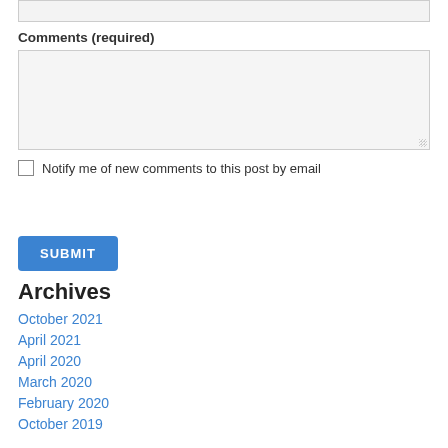Comments (required)
Notify me of new comments to this post by email
SUBMIT
Archives
October 2021
April 2021
April 2020
March 2020
February 2020
October 2019